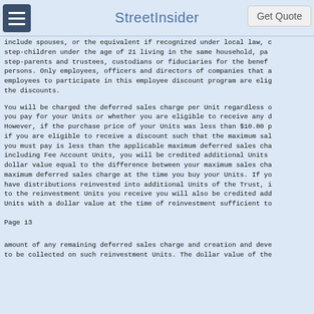StreetInsider
include spouses, or the equivalent if recognized under local law, c step-children under the age of 21 living in the same household, pa step-parents and trustees, custodians or fiduciaries for the benef persons. Only employees, officers and directors of companies that a employees to participate in this employee discount program are elig the discounts.
You will be charged the deferred sales charge per Unit regardless o you pay for your Units or whether you are eligible to receive any d However, if the purchase price of your Units was less than $10.00 p if you are eligible to receive a discount such that the maximum sal you must pay is less than the applicable maximum deferred sales cha including Fee Account Units, you will be credited additional Units dollar value equal to the difference between your maximum sales cha maximum deferred sales charge at the time you buy your Units. If yo have distributions reinvested into additional Units of the Trust, i to the reinvestment Units you receive you will also be credited ado Units with a dollar value at the time of reinvestment sufficient to
Page 13
amount of any remaining deferred sales charge and creation and deve to be collected on such reinvestment Units. The dollar value of the